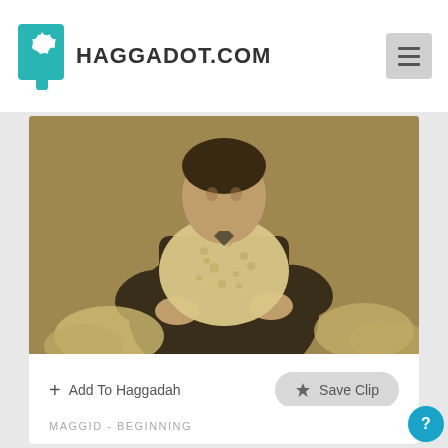HAGGADOT.COM
[Figure (photo): Vintage sepia photograph of a young boy in a dark jacket holding and eating a large piece of matzah, with other matzahs visible around him.]
+ Add To Haggadah
★ Save Clip
MAGGID - BEGINNING